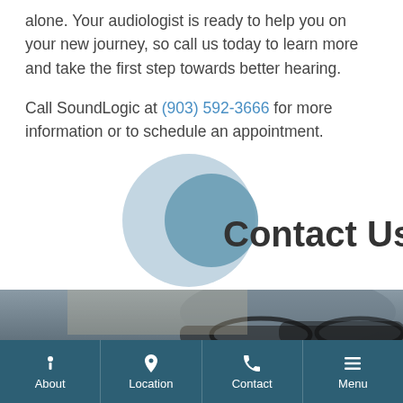alone. Your audiologist is ready to help you on your new journey, so call us today to learn more and take the first step towards better hearing.
Call SoundLogic at (903) 592-3666 for more information or to schedule an appointment.
[Figure (illustration): Two concentric circles (light blue and darker blue/teal) with 'Contact Us' text overlay forming a decorative section header]
[Figure (photo): Partial photo of an elderly person wearing glasses, darkened with overlay text 'If you are experiencing a medical...']
If you are experiencing a medical
About | Location | Contact | Menu